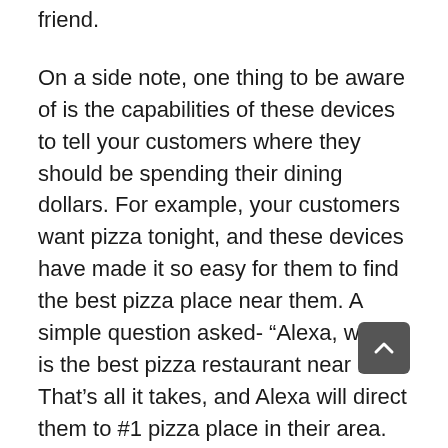friend.
On a side note, one thing to be aware of is the capabilities of these devices to tell your customers where they should be spending their dining dollars. For example, your customers want pizza tonight, and these devices have made it so easy for them to find the best pizza place near them. A simple question asked- “Alexa, what is the best pizza restaurant near me?” That’s all it takes, and Alexa will direct them to #1 pizza place in their area.
How does Alexa know what is the best pizza place? I’ll give you a hint- it’s determined by your reviews! Yes, Yelp, Google, TripAdvisor,